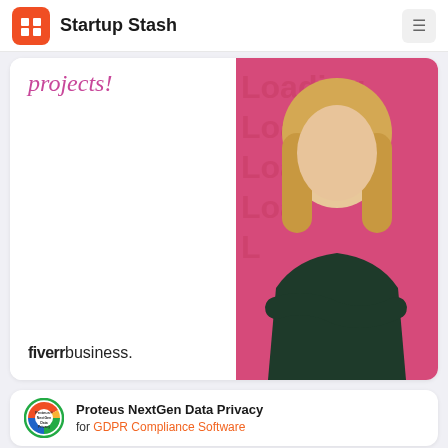Startup Stash
[Figure (photo): Fiverr Business advertisement showing italic pink text 'projects!' on left side and a woman with blonde hair in a black outfit against a pink background with 'Loading' text watermark on the right side. Fiverr business logo appears at bottom left.]
[Figure (logo): Proteus NextGen Data Privacy circular logo with colorful segments (blue, red, yellow, green) on a white background with green outer ring]
Proteus NextGen Data Privacy for GDPR Compliance Software